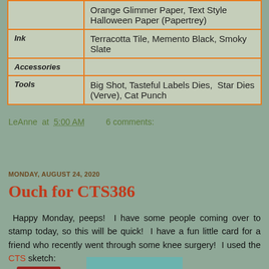|  |  |
| --- | --- |
|  | Orange Glimmer Paper, Text Style Halloween Paper (Papertrey) |
| Ink | Terracotta Tile, Memento Black, Smoky Slate |
| Accessories |  |
| Tools | Big Shot, Tasteful Labels Dies,  Star Dies (Verve), Cat Punch |
LeAnne at 5:00 AM   6 comments:
Share
MONDAY, AUGUST 24, 2020
Ouch for CTS386
Happy Monday, peeps!  I have some people coming over to stamp today, so this will be quick!  I have a fun little card for a friend who recently went through some knee surgery!  I used the CTS sketch:
[Figure (other): Bottom edge of a sketch/image partially visible]